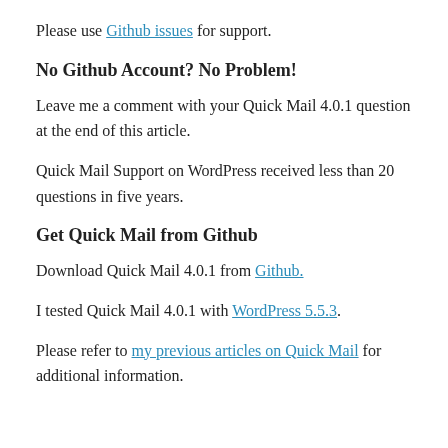Please use Github issues for support.
No Github Account? No Problem!
Leave me a comment with your Quick Mail 4.0.1 question at the end of this article.
Quick Mail Support on WordPress received less than 20 questions in five years.
Get Quick Mail from Github
Download Quick Mail 4.0.1 from Github.
I tested Quick Mail 4.0.1 with WordPress 5.5.3.
Please refer to my previous articles on Quick Mail for additional information.